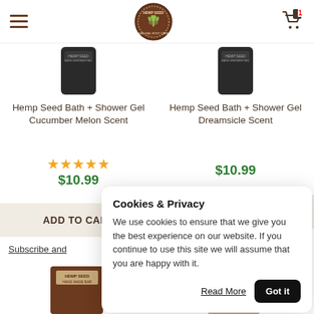[Figure (screenshot): Hemp Seed Natural Body Care logo — circular brown emblem with plant/crown icon]
[Figure (photo): Hemp Seed Bath + Shower Gel Cucumber Melon Scent product image (dark jar)]
[Figure (photo): Hemp Seed Bath + Shower Gel Dreamsicle Scent product image (dark jar)]
Hemp Seed Bath + Shower Gel Cucumber Melon Scent
★★★★★
$10.99
Hemp Seed Bath + Shower Gel Dreamsicle Scent
$10.99
ADD TO CART
ADD TO CART
Subscribe and
[Figure (photo): Hemp Seed bar soap product at bottom left]
[Figure (photo): Hemp Seed lotion product at bottom right]
Cookies & Privacy
We use cookies to ensure that we give you the best experience on our website. If you continue to use this site we will assume that you are happy with it.
Read More
Got it